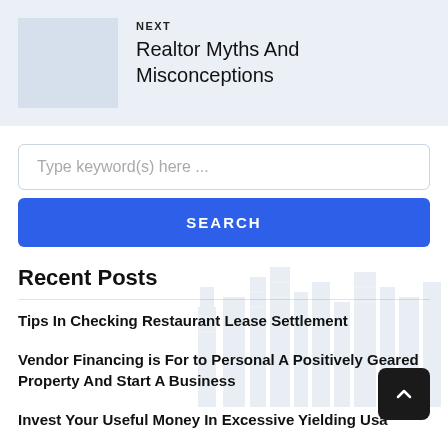NEXT
Realtor Myths And Misconceptions
Type keyword(s) here ...
SEARCH
Recent Posts
Tips In Checking Restaurant Lease Settlement
Vendor Financing is For to Personal A Positively Geared Property And Start A Business
Invest Your Useful Money In Excessive Yielding Usa